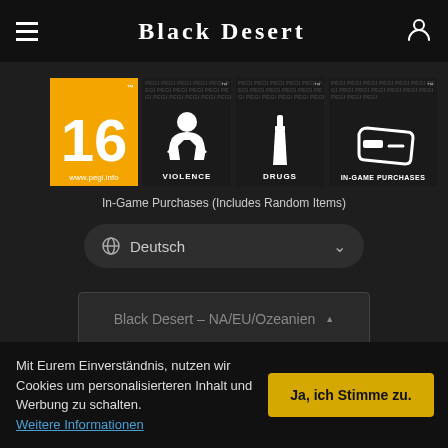Black Desert
[Figure (logo): PEGI 16 rating badge (orange background with large white '16' and www.pegi.info text)]
[Figure (logo): PEGI Violence content descriptor badge (dark background with violence icon and 'VIOLENCE' label)]
[Figure (logo): PEGI Drugs content descriptor badge (dark background with syringe icon and 'DRUGS' label)]
[Figure (logo): PEGI In-Game Purchases content descriptor badge (dark background with credit card icon and 'IN-GAME PURCHASES' label)]
In-Game Purchases (Includes Random Items)
Deutsch
Black Desert – NA/EU/Ozeanien
PEARL ABYSS
Mit Eurem Einverständnis, nutzen wir Cookies um personalisierteren Inhalt und Werbung zu schalten. Weitere Informationen
Ja, ich Stimme zu.